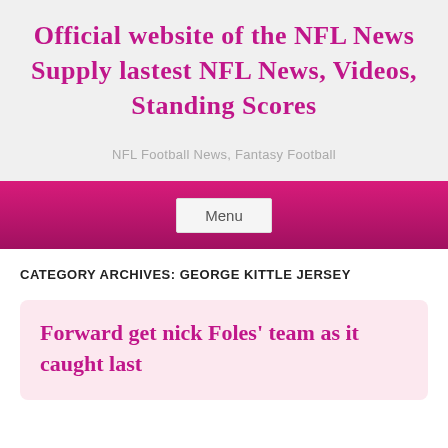Official website of the NFL News Supply lastest NFL News, Videos, Standing Scores
NFL Football News, Fantasy Football
Menu
CATEGORY ARCHIVES: GEORGE KITTLE JERSEY
Forward get nick Foles' team as it caught last